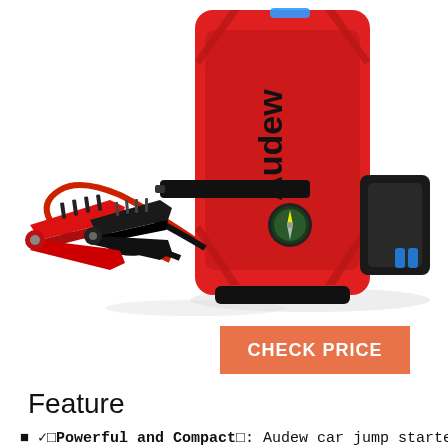[Figure (photo): Audew car jump starter product photo showing a red rectangular device with black accents, the Audew brand name on the front, red and black jumper clamp cables attached, a compass on the front face, and a blue connector on the right side.]
CHECK PRICE
Feature
✓⬜Powerful and Compact⬜: Audew car jump starter